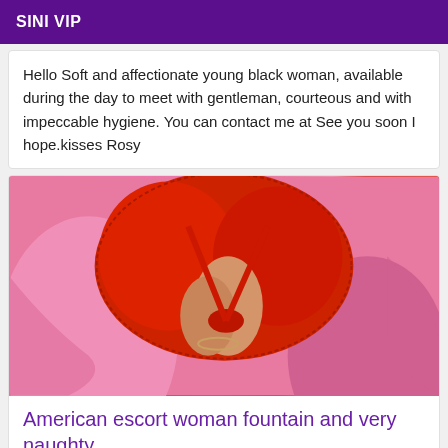SINI VIP
Hello Soft and affectionate young black woman, available during the day to meet with gentleman, courteous and with impeccable hygiene. You can contact me at See you soon I hope.kisses Rosy
[Figure (photo): Close-up photo of a person wearing red lace lingerie against a pink background]
American escort woman fountain and very naughty
East Lansing escort outcall